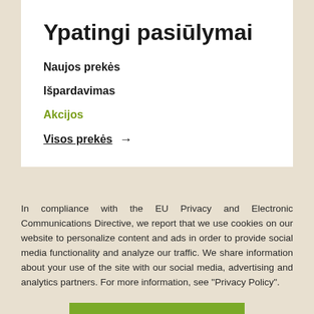Ypatingi pasiūlymai
Naujos prekės
Išpardavimas
Akcijos
Visos prekės →
In compliance with the EU Privacy and Electronic Communications Directive, we report that we use cookies on our website to personalize content and ads in order to provide social media functionality and analyze our traffic. We share information about your use of the site with our social media, advertising and analytics partners. For more information, see "Privacy Policy".
UNDERSTAND